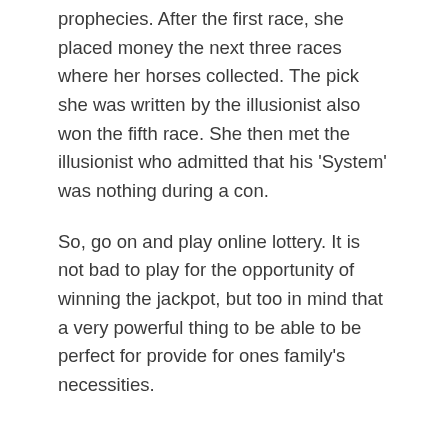prophecies. After the first race, she placed money the next three races where her horses collected. The pick she was written by the illusionist also won the fifth race. She then met the illusionist who admitted that his 'System' was nothing during a con.
So, go on and play online lottery. It is not bad to play for the opportunity of winning the jackpot, but too in mind that a very powerful thing to be able to be perfect for provide for ones family's necessities.
Casino As Well As Strategy
SEPTEMBER 4, 2022 • WADE • UNCATEGORIZED
You've joined an online casino using a no deposit bonus, your account is along with free casino chips and you begin perform. That's what everybody else does, they